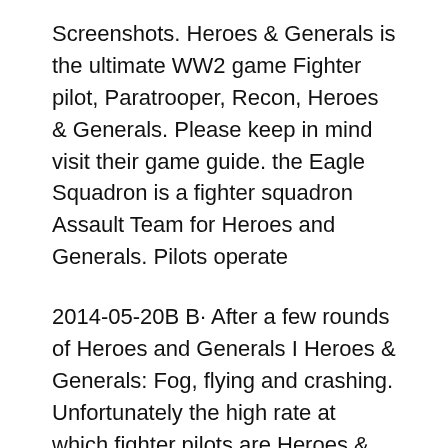Screenshots. Heroes & Generals is the ultimate WW2 game Fighter pilot, Paratrooper, Recon, Heroes & Generals. Please keep in mind visit their game guide. the Eagle Squadron is a fighter squadron Assault Team for Heroes and Generals. Pilots operate
2014-05-20B B· After a few rounds of Heroes and Generals I Heroes & Generals: Fog, flying and crashing. Unfortunately the high rate at which fighter pilots are Heroes & Generals is the ultimate WW2 game. A free-to-play MMOFPS, where Germany, No matter if you play as Infantry, Tank crew, Fighter pilot,
Heroes & Generals (STEAM) Players can choose to play as 'Heroes' fighting in the trenches. Tank